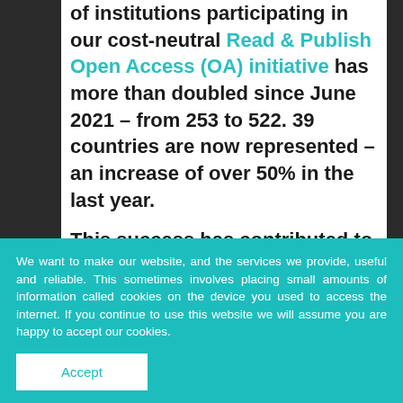of institutions participating in our cost-neutral Read & Publish Open Access (OA) initiative has more than doubled since June 2021 – from 253 to 522. 39 countries are now represented – an increase of over 50% in the last year.
This success has contributed to a significant growth in the proportion of OA research content in our hybrid journals – Development, Journal of Cell Science and Journal of Experimental Biology – which were the first to be afforded Transformative Journal status by Plan S.
We want to make our website, and the services we provide, useful and reliable. This sometimes involves placing small amounts of information called cookies on the device you used to access the internet. If you continue to use this website we will assume you are happy to accept our cookies.
Accept